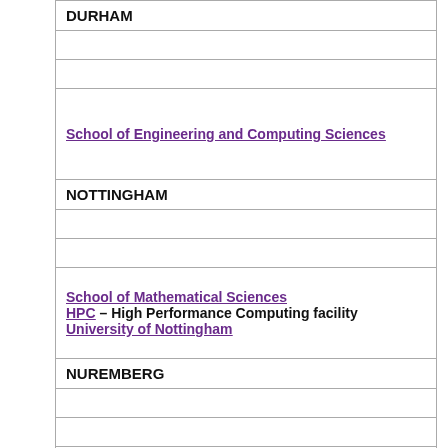| DURHAM |
|  |
|  |
| School of Engineering and Computing Sciences |
| NOTTINGHAM |
|  |
|  |
| School of Mathematical Sciences
HPC – High Performance Computing facility
University of Nottingham |
| NUREMBERG |
|  |
|  |
|  |